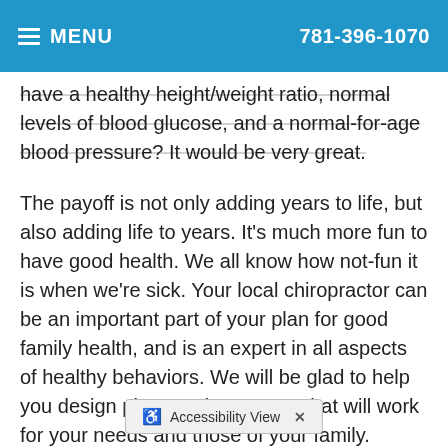≡ MENU   781-396-1070
have a healthy height/weight ratio, normal levels of blood glucose, and a normal-for-age blood pressure? It would be very great.
The payoff is not only adding years to life, but also adding life to years. It's much more fun to have good health. We all know how not-fun it is when we're sick. Your local chiropractor can be an important part of your plan for good family health, and is an expert in all aspects of healthy behaviors. We will be glad to help you design plans and programs that will work for your needs and those of your family.
1 Hamman RF, et al: Effect of weight loss with lifestyle intervention on risk of diabetes. D...petes